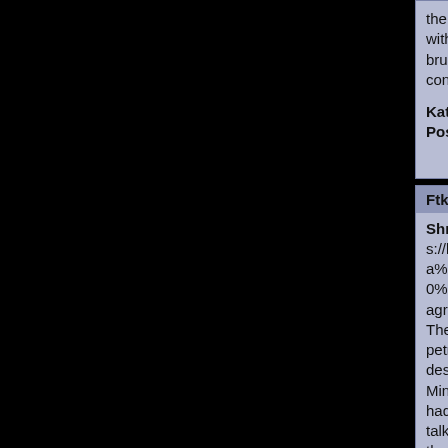the patient was in an ambulance with what the team later called a bruised lung and possible concussion.
Kategorie: Žádná kategorie
Postavy: Nic
Odpovědět na námět!
FtkjnslbeGr od
Shrnutí: One moment, please https://krimiautorena-z.blog/?s=Viagra%20Approved%20Pharmacy%20%E2%AD%90%20Buy%20Viagra%20100mg buy viagra 100mg The decision to close the petrochemical plant comes despitethe protestations of Prime Minister David Cameron, who hadcalled on all sides to continue talks. The move is also asetback for the Scottish National Party, which is leading thecampaign for